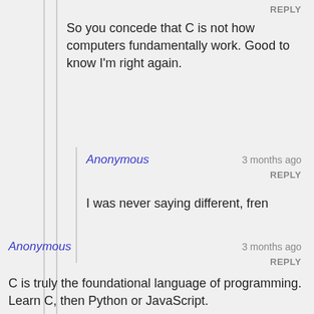REPLY
So you concede that C is not how computers fundamentally work. Good to know I'm right again.
Anonymous
3 months ago
REPLY
I was never saying different, fren
Anonymous
3 months ago
REPLY
C is truly the foundational language of programming. Learn C, then Python or JavaScript.